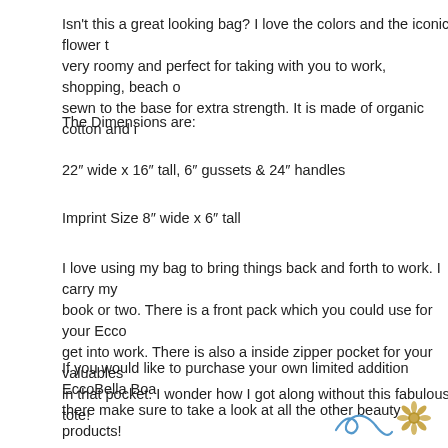Isn't this a great looking bag?  I love the colors and the iconic flower t... very roomy and perfect for taking with you to work, shopping, beach o... sewn to the base for extra strength. It is made of organic cotton and i...
The Dimensions are:
22″ wide x 16″ tall, 6″ gussets & 24″ handles
Imprint Size 8″ wide x 6″ tall
I love using my bag to bring things back and forth to work.  I carry my... book or two.  There is a front pack which you could use for your Ecco... get into work.  There is also a inside zipper pocket for your valuables... in that pocket.  I wonder how I got along without this fabulous tote!
If you would like to purchase your own limited addition EccoBella Boa... there make sure to take a look at all the other beauty products!
[Figure (illustration): Signature/handwriting mark and a daisy flower icon in the bottom right corner]